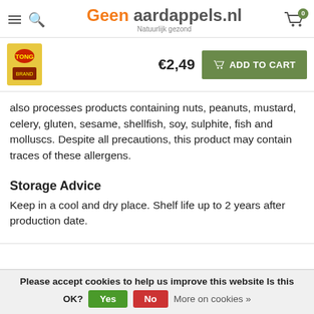Geen aardappels.nl – Natuurlijk gezond
[Figure (photo): Product image thumbnail with yellow and red packaging]
€2,49
ADD TO CART
also processes products containing nuts, peanuts, mustard, celery, gluten, sesame, shellfish, soy, sulphite, fish and molluscs. Despite all precautions, this product may contain traces of these allergens.
Storage Advice
Keep in a cool and dry place. Shelf life up to 2 years after production date.
Please accept cookies to help us improve this website Is this OK? Yes No More on cookies »